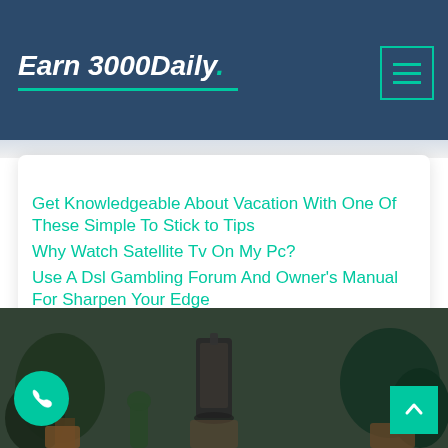Earn 3000Daily
Get Knowledgeable About Vacation With One Of These Simple To Stick to Tips
Why Watch Satellite Tv On My Pc?
Use A Dsl Gambling Forum And Owner’s Manual For Sharpen Your Edge
[Figure (photo): Dark background photo of indoor plants, a lantern, and decorative items on a table, with a phone call button (teal circle with phone icon) on the lower left and a scroll-to-top button (teal square with up arrow) on the lower right.]